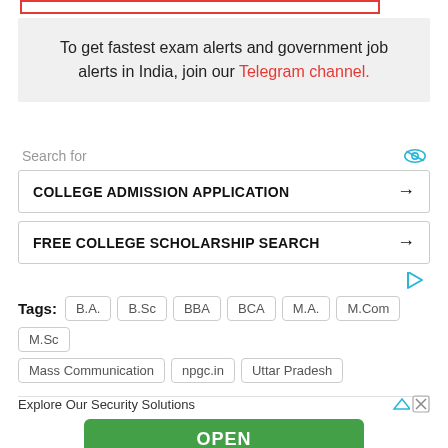To get fastest exam alerts and government job alerts in India, join our Telegram channel.
[Figure (infographic): Search for ad unit with two search buttons: COLLEGE ADMISSION APPLICATION and FREE COLLEGE SCHOLARSHIP SEARCH, with eye icon and ad triangle icon]
Tags: B.A. B.Sc BBA BCA M.A. M.Com M.Sc Mass Communication npgc.in Uttar Pradesh
[Figure (infographic): Advertisement section with Explore Our Security Solutions text and green OPEN button and Ad label]